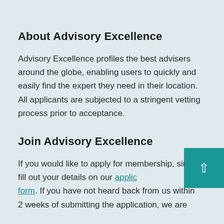About Advisory Excellence
Advisory Excellence profiles the best advisers around the globe, enabling users to quickly and easily find the expert they need in their location. All applicants are subjected to a stringent vetting process prior to acceptance.
Join Advisory Excellence
If you would like to apply for membership, simply fill out your details on our application form. If you have not heard back from us within 2 weeks of submitting the application, we are